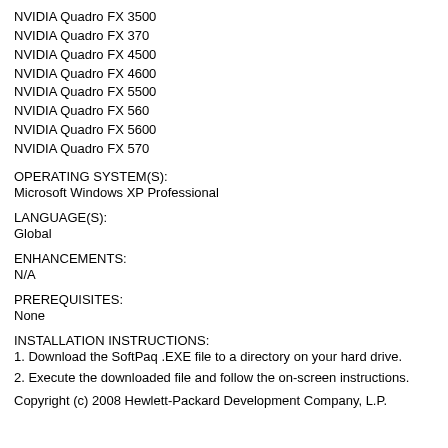NVIDIA Quadro FX 3500
NVIDIA Quadro FX 370
NVIDIA Quadro FX 4500
NVIDIA Quadro FX 4600
NVIDIA Quadro FX 5500
NVIDIA Quadro FX 560
NVIDIA Quadro FX 5600
NVIDIA Quadro FX 570
OPERATING SYSTEM(S):
Microsoft Windows XP Professional
LANGUAGE(S):
Global
ENHANCEMENTS:
N/A
PREREQUISITES:
None
INSTALLATION INSTRUCTIONS:
1. Download the SoftPaq .EXE file to a directory on your hard drive.
2. Execute the downloaded file and follow the on-screen instructions.
Copyright (c) 2008 Hewlett-Packard Development Company, L.P.